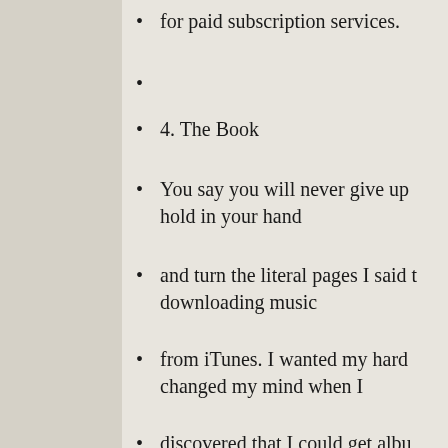for paid subscription services.
4. The Book
You say you will never give up hold in your hand
and turn the literal pages I said t downloading music
from iTunes. I wanted my hard changed my mind when I
discovered that I could get albu without ever leaving
home to get the latest music. Th